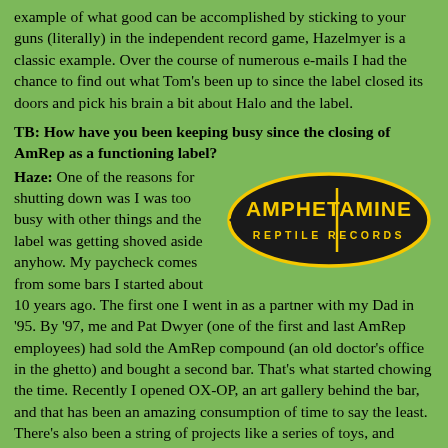example of what good can be accomplished by sticking to your guns (literally) in the independent record game, Hazelmyer is a classic example. Over the course of numerous e-mails I had the chance to find out what Tom's been up to since the label closed its doors and pick his brain a bit about Halo and the label.
TB: How have you been keeping busy since the closing of AmRep as a functioning label?
[Figure (logo): Amphetamine Reptile Records logo — black oval/diamond shape with yellow text reading AMPHETAMINE on top line and REPTILE RECORDS on bottom line]
Haze: One of the reasons for shutting down was I was too busy with other things and the label was getting shoved aside anyhow. My paycheck comes from some bars I started about 10 years ago. The first one I went in as a partner with my Dad in '95. By '97, me and Pat Dwyer (one of the first and last AmRep employees) had sold the AmRep compound (an old doctor's office in the ghetto) and bought a second bar. That's what started chowing the time. Recently I opened OX-OP, an art gallery behind the bar, and that has been an amazing consumption of time to say the least. There's also been a string of projects like a series of toys, and several books, and other projects related to the gallery. In a lot of ways the current underground art movement reminds me a lot of the early punk/alt/hardcore days and I'm kind of consumed by it.
TB: And what about you still running it as a label? Are i...